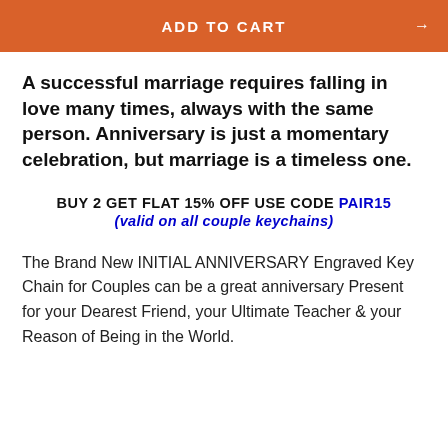ADD TO CART
A successful marriage requires falling in love many times, always with the same person. Anniversary is just a momentary celebration, but marriage is a timeless one.
BUY 2 GET FLAT 15% OFF USE CODE PAIR15 (valid on all couple keychains)
The Brand New INITIAL ANNIVERSARY Engraved Key Chain for Couples can be a great anniversary Present for your Dearest Friend, your Ultimate Teacher & your Reason of Being in the World.